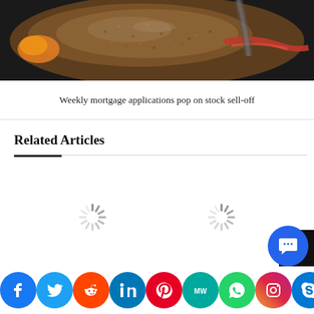[Figure (photo): Close-up food photo showing a meat dish with sauce on a dark plate]
Weekly mortgage applications pop on stock sell-off
Related Articles
[Figure (other): Two loading spinner icons indicating content is loading]
Social sharing bar with Facebook, Twitter, Reddit, LinkedIn, Pinterest, MarketWatch, WhatsApp, Instagram, Skype, More